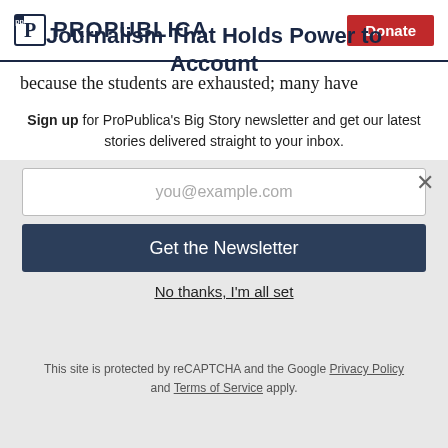ProPublica | Donate
because the students are exhausted; many have
Journalism That Holds Power to Account
Sign up for ProPublica's Big Story newsletter and get our latest stories delivered straight to your inbox.
you@example.com
Get the Newsletter
No thanks, I'm all set
This site is protected by reCAPTCHA and the Google Privacy Policy and Terms of Service apply.